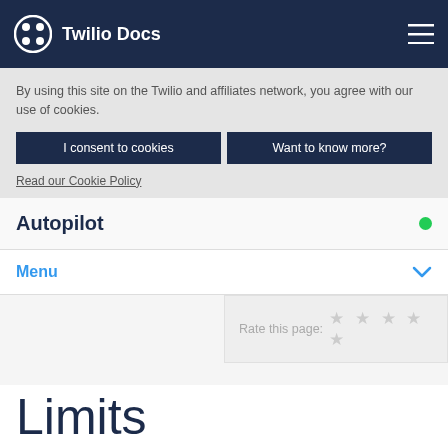Twilio Docs
By using this site on the Twilio and affiliates network, you agree with our use of cookies.
I consent to cookies
Want to know more?
Read our Cookie Policy
Autopilot
Menu
Rate this page:
Limits